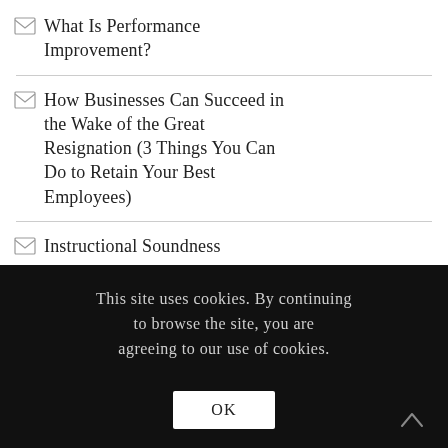What Is Performance Improvement?
How Businesses Can Succeed in the Wake of the Great Resignation (3 Things You Can Do to Retain Your Best Employees)
Instructional Soundness
This site uses cookies. By continuing to browse the site, you are agreeing to our use of cookies.
OK